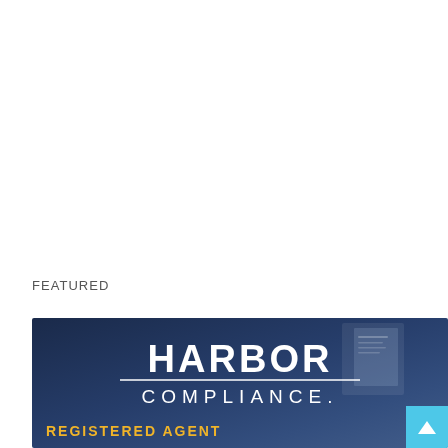FEATURED
[Figure (logo): Harbor Compliance registered agent banner logo with dark blue background showing the Harbor Compliance wordmark and 'REGISTERED AGENT' text in gold]